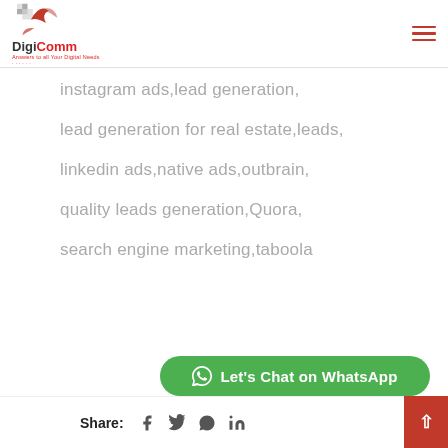DigiComm - Answers to all Your Digital Needs
instagram ads,lead generation,
lead generation for real estate,leads,
linkedin ads,native ads,outbrain,
quality leads generation,Quora,
search engine marketing,taboola
Share: